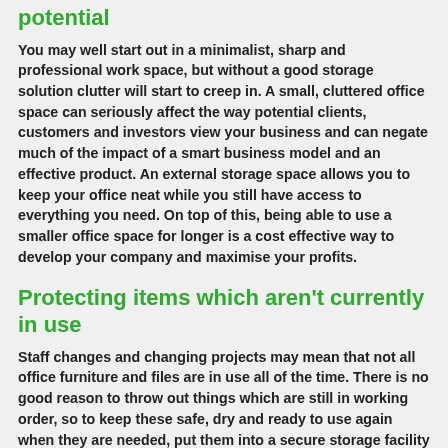potential
You may well start out in a minimalist, sharp and professional work space, but without a good storage solution clutter will start to creep in. A small, cluttered office space can seriously affect the way potential clients, customers and investors view your business and can negate much of the impact of a smart business model and an effective product. An external storage space allows you to keep your office neat while you still have access to everything you need. On top of this, being able to use a smaller office space for longer is a cost effective way to develop your company and maximise your profits.
Protecting items which aren't currently in use
Staff changes and changing projects may mean that not all office furniture and files are in use all of the time. There is no good reason to throw out things which are still in working order, so to keep these safe, dry and ready to use again when they are needed, put them into a secure storage facility where they are guaranteed to